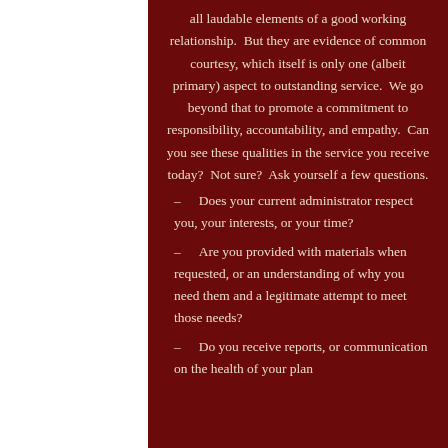all laudable elements of a good working relationship.  But they are evidence of common courtesy, which itself is only one (albeit primary) aspect to outstanding service.  We go beyond that to promote a commitment to responsibility, accountability, and empathy.  Can you see these qualities in the service you receive today?  Not sure?  Ask yourself a few questions.
– Does your current administrator respect you, your interests, or your time?
– Are you provided with materials when requested, or an understanding of why you need them and a legitimate attempt to meet those needs?
– Do you receive reports, or communication on the health of your plan